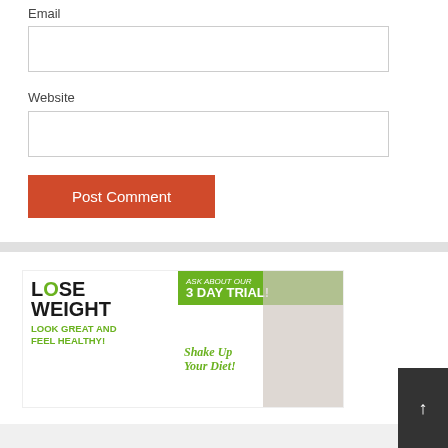Email
Website
Post Comment
[Figure (infographic): Lose Weight advertisement banner: 'LOSE WEIGHT LOOK GREAT AND FEEL HEALTHY! ASK ABOUT OUR 3 DAY TRIAL! Shake Up Your Diet!' with image of woman in white sports bra with measuring tape around waist]